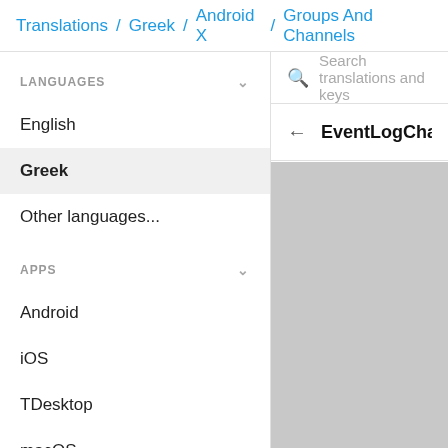Translations / Greek / Android X / Groups And Channels
LANGUAGES
English
Greek
Other languages...
APPS
Android
iOS
TDesktop
macOS
Android X
Search translations and keys
EventLogChangedChan
[Figure (screenshot): Gray placeholder content area on the right panel below the key name row]